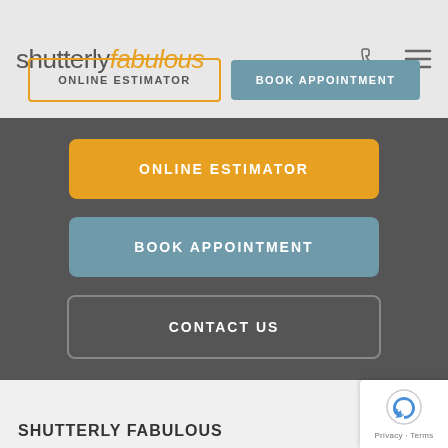[Figure (logo): Shutterly Fabulous logo — 'shutterly' in grey sans-serif, 'fabulous' in orange italic]
[Figure (illustration): Phone icon and hamburger menu icon in top-right header]
ONLINE ESTIMATOR
BOOK APPOINTMENT
ONLINE ESTIMATOR
BOOK APPOINTMENT
CONTACT US
SHUTTERLY FABULOUS
[Figure (logo): reCAPTCHA badge with Privacy · Terms text]